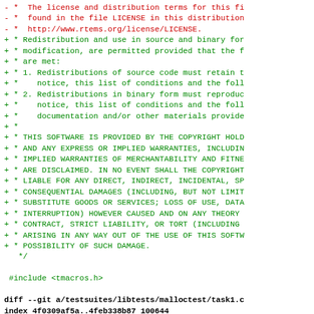Diff/patch code view showing license header removal (red) and BSD license addition (green), followed by diff header for malloctest/task1.c